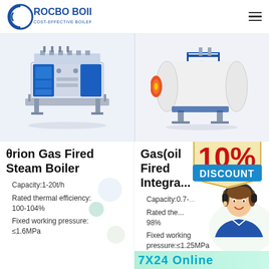[Figure (logo): Rocbo Boiler logo with circular C emblem and tagline: COST-EFFECTIVE BOILER SUPPLIER]
[Figure (photo): Blue and white industrial boiler unit (θrion Gas Fired Steam Boiler) - left panel]
[Figure (photo): White cylindrical gas/oil fired integrated boiler - right panel]
θrion Gas Fired Steam Boiler
Capacity:1-20t/h
Rated thermal efficiency: 100-104%
Fixed working pressure: ≤1.6MPa
Gas(oil Fired Integrated...
Capacity:0.7-...
Rated thermal efficiency: 98%
Fixed working pressure:≤1.25MPa
[Figure (infographic): 10% DISCOUNT promotional badge in red and yellow]
[Figure (photo): Customer service representative with headset]
7X24 Online